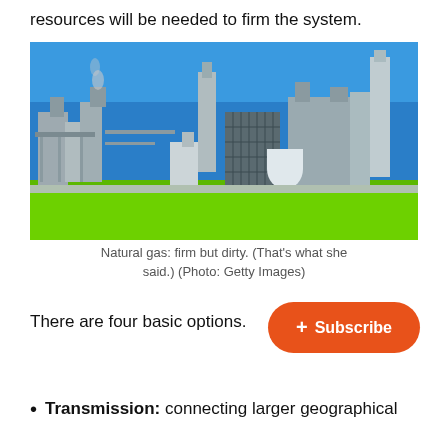resources will be needed to firm the system.
[Figure (photo): Industrial natural gas power plant with multiple stacks and cooling structures, set against a bright blue sky with a green grass foreground.]
Natural gas: firm but dirty. (That's what she said.) (Photo: Getty Images)
There are four basic options.
Transmission: connecting larger geographical